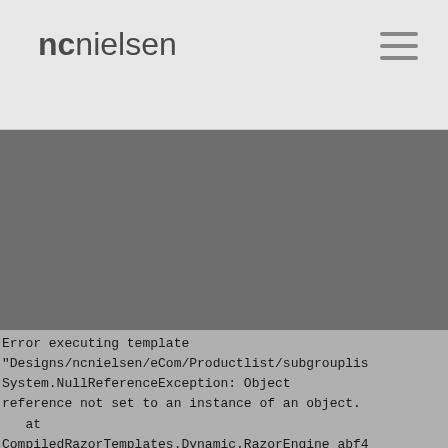ncnielsen
[Figure (other): Dark gray banner/hero image area below the navigation header]
Error executing template "Designs/ncnielsen/eCom/Productlist/subgrouplis System.NullReferenceException: Object reference not set to an instance of an object.    at CompiledRazorTemplates.Dynamic.RazorEngine_abf4 in D:\dynamicweb.net\Solutions\Gotcha\ncn.dw9.dyna cms.com\files\Templates\Designs\ncnielsen\eCom\ 8